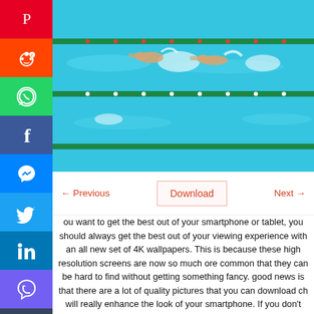[Figure (photo): Aerial view of competitive swimmers in a blue swimming pool with lane dividers]
← Previous   Download   Next →
If you want to get the best out of your smartphone or tablet, you should always get the best out of your viewing experience with an all new set of 4K wallpapers. This is because these high resolution screens are now so much more common that they can be hard to find without getting something fancy. The good news is that there are a lot of quality pictures that you can download which will really enhance the look of your smartphone. If you don't mind paying for a premium package, there are tons of websites out there that will give you all the premium options you could possibly need. Press Download button to download this wallpaper for Free. All wallpapers are 4K in quality.
Even though most of these sites will only give you some free choices, they are still great options and have tons of quality pictures. Some of the pictures that you will get include everything from beautiful nature scenes to pictures taken on the beaches of the United States. There are even some that include pictures of people and animals which will truly give you a feel of being outside